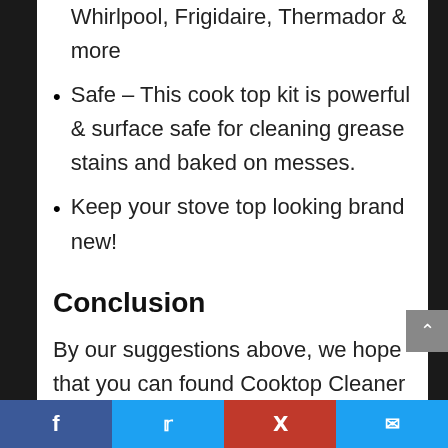Whirlpool, Frigidaire, Thermador & more
Safe – This cook top kit is powerful & surface safe for cleaning grease stains and baked on messes.
Keep your stove top looking brand new!
Conclusion
By our suggestions above, we hope that you can found Cooktop Cleaner Kenmorr for you.Please don't forget to share your experience by comment in this post. Thank
Facebook | Twitter | Pinterest | Email